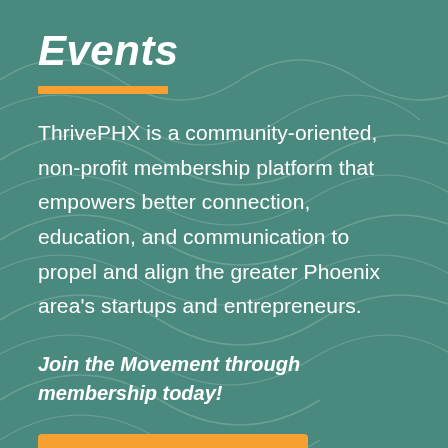Events
ThrivePHX is a community-oriented, non-profit membership platform that empowers better connection, education, and communication to propel and align the greater Phoenix area's startups and entrepreneurs.
Join the Movement through membership today!
JOIN TODAY